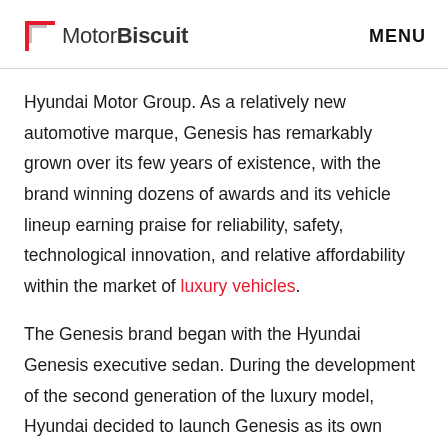MotorBiscuit  MENU
Hyundai Motor Group. As a relatively new automotive marque, Genesis has remarkably grown over its few years of existence, with the brand winning dozens of awards and its vehicle lineup earning praise for reliability, safety, technological innovation, and relative affordability within the market of luxury vehicles.
The Genesis brand began with the Hyundai Genesis executive sedan. During the development of the second generation of the luxury model, Hyundai decided to launch Genesis as its own division. After releasing the Genesis G90 as the brand's first luxury model, the new generation of the Hyundai Genesis